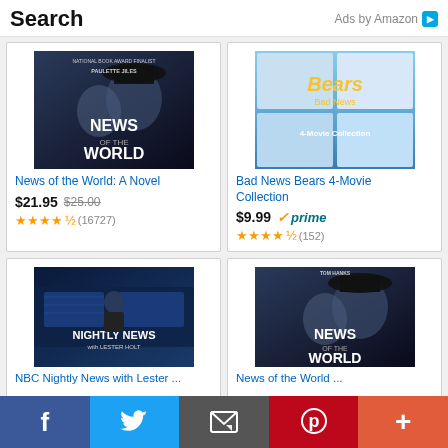Search | Ads by Amazon
[Figure (photo): Book cover: News of the World: A Novel by Paulette Jiles, featuring Tom Hanks]
News of the World: A Novel
$21.95  $25.00  ★★★★½ (16727)
[Figure (photo): DVD cover: Bad News Bears 4-Movie Collection]
Bad News Bears 4-Movie Collection
$9.99 ✓prime  ★★★★½ (152)
[Figure (photo): NBC Nightly News with Lester Holt show cover]
NBC Nightly News with Lester ...
[Figure (photo): Movie poster: News of the World featuring Tom Hanks]
News of the World ...
f  Twitter  Email  Pinterest  +